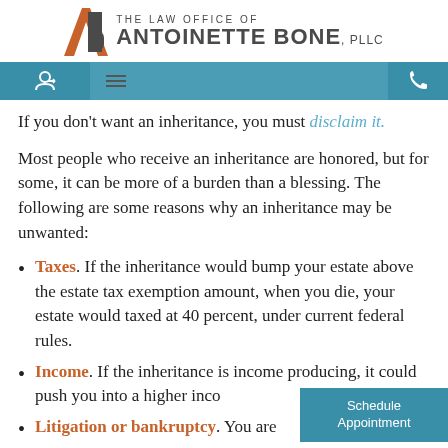THE LAW OFFICE OF ANTOINETTE BONE, PLLC
If you don't want an inheritance, you must disclaim it.
Most people who receive an inheritance are honored, but for some, it can be more of a burden than a blessing. The following are some reasons why an inheritance may be unwanted:
Taxes. If the inheritance would bump your estate above the estate tax exemption amount, when you die, your estate would taxed at 40 percent, under current federal rules.
Income. If the inheritance is income producing, it could push you into a higher inco
Litigation or bankruptcy. You are